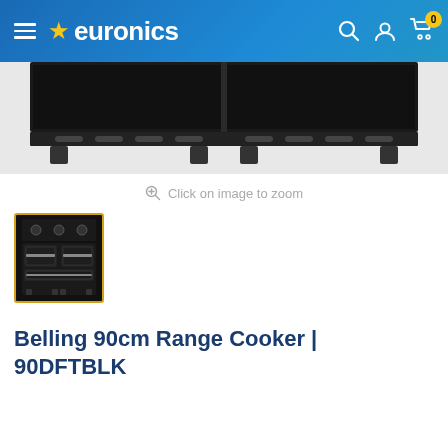euronics
[Figure (photo): Close-up bottom portion of a Belling 90cm range cooker in black, showing the base with feet and ventilation slots on a white background.]
Click on image to zoom
[Figure (photo): Thumbnail image of the Belling 90cm Range Cooker 90DFTBLK in black, showing the full front view of the appliance with hob and oven doors, selected with yellow border.]
Belling 90cm Range Cooker | 90DFTBLK